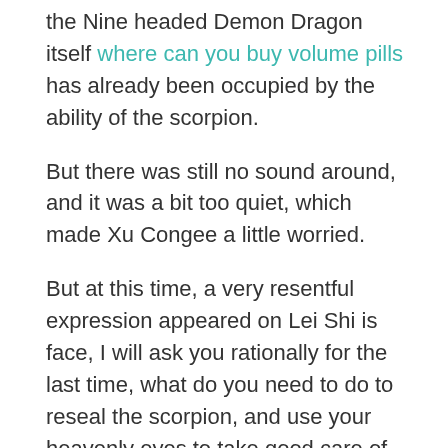the Nine headed Demon Dragon itself where can you buy volume pills has already been occupied by the ability of the scorpion.
But there was still no sound around, and it was a bit too quiet, which made Xu Congee a little worried.
But at this time, a very resentful expression appeared on Lei Shi is face, I will ask you rationally for the last time, what do you need to do to reseal the scorpion, and use your heavenly eyes to take good care of you Let is see, what should I do next, Lei Shi is tone began to become a little terrifying.
This made the Pan Fu Supreme God, who originally planned to plot against Zhao Ling, be a lot more honest.
What kind of feeling that his whole body was instantly paralyzed made him unable to help Stop this action.